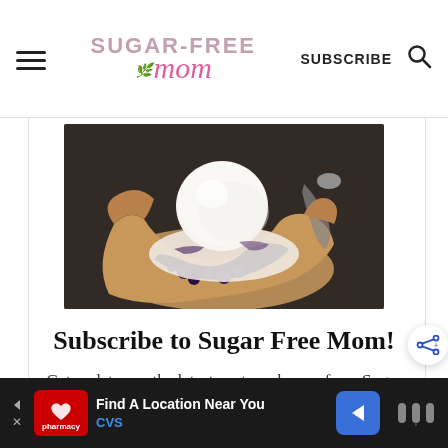Sugar-Free Mom — SUBSCRIBE
[Figure (photo): Close-up food photo of a blueberry galette or hand pie with a scoop of vanilla ice cream on top, melting, on a dark stone surface with a spoon in the background]
Subscribe to Sugar Free Mom!
Get updates on the latest posts and more from Sugar Free Mom straight to
[Figure (other): CVS Pharmacy advertisement banner: 'Find A Location Near You' with CVS logo, navigation arrow icon, and additional icon on the right]